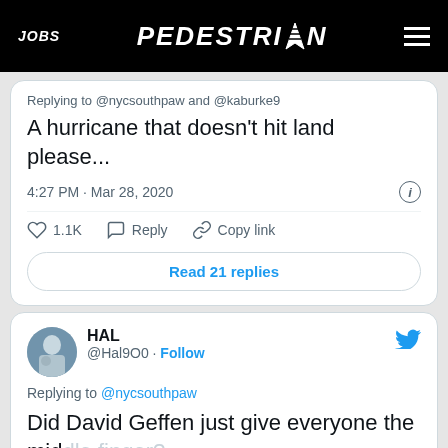JOBS | PEDESTRIAN | (menu)
Replying to @nycsouthpaw and @kaburke9
A hurricane that doesn't hit land please...
4:27 PM · Mar 28, 2020
1.1K  Reply  Copy link
Read 21 replies
[Figure (photo): Twitter profile avatar for HAL, showing a person outdoors in misty/foggy conditions]
HAL @Hal9O0 · Follow
Replying to @nycsouthpaw
Did David Geffen just give everyone the middle finger?
1:17
PEDESTRIAN DAILY — Only on Spotify